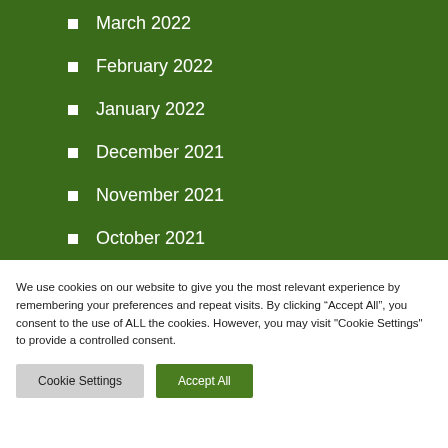March 2022
February 2022
January 2022
December 2021
November 2021
October 2021
September 2021
We use cookies on our website to give you the most relevant experience by remembering your preferences and repeat visits. By clicking “Accept All”, you consent to the use of ALL the cookies. However, you may visit "Cookie Settings" to provide a controlled consent.